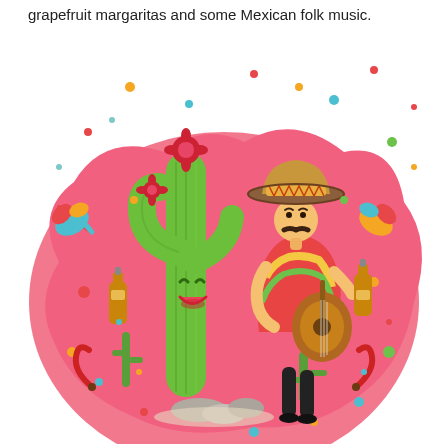grapefruit margaritas and some Mexican folk music.
[Figure (illustration): Colorful festive Mexican illustration showing a cartoon smiling cactus character and a mariachi man wearing a sombrero and colorful poncho playing guitar, both holding beer bottles, set against a large pink blob background with confetti dots, chili peppers, splash elements, and small cacti at the base.]